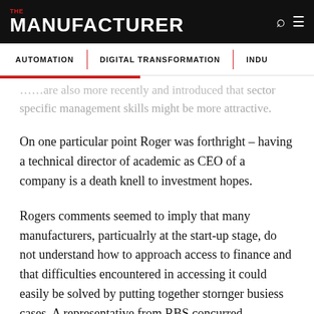THE MANUFACTURER
AUTOMATION | DIGITAL TRANSFORMATION | INDU
...many are also more recently and introduced that sector specific management skills might be more attractive.
On one particular point Roger was forthright – having a technical director of academic as CEO of a company is a death knell to investment hopes.
Rogers comments seemed to imply that many manufacturers, particualrly at the start-up stage, do not understand how to approach access to finance and that difficulties encountered in accessing it could easily be solved by putting together stornger busiess cases. A representative from RBS concurred.